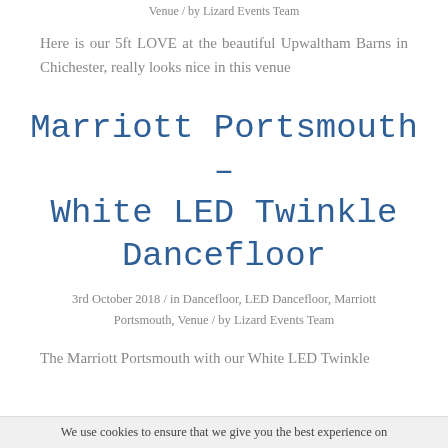Venue / by Lizard Events Team
Here is our 5ft LOVE at the beautiful Upwaltham Barns in Chichester, really looks nice in this venue
Marriott Portsmouth – White LED Twinkle Dancefloor
3rd October 2018 / in Dancefloor, LED Dancefloor, Marriott Portsmouth, Venue / by Lizard Events Team
The Marriott Portsmouth with our White LED Twinkle
We use cookies to ensure that we give you the best experience on